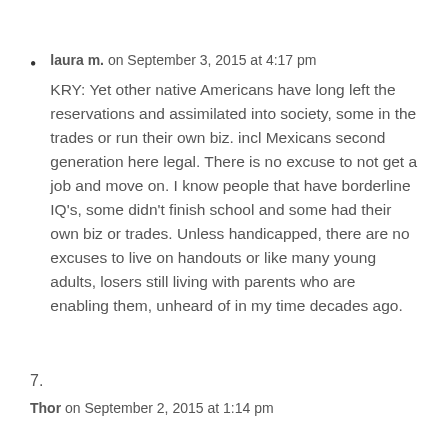laura m. on September 3, 2015 at 4:17 pm
KRY: Yet other native Americans have long left the reservations and assimilated into society, some in the trades or run their own biz. incl Mexicans second generation here legal. There is no excuse to not get a job and move on. I know people that have borderline IQ’s, some didn’t finish school and some had their own biz or trades. Unless handicapped, there are no excuses to live on handouts or like many young adults, losers still living with parents who are enabling them, unheard of in my time decades ago.
7.
Thor on September 2, 2015 at 1:14 pm